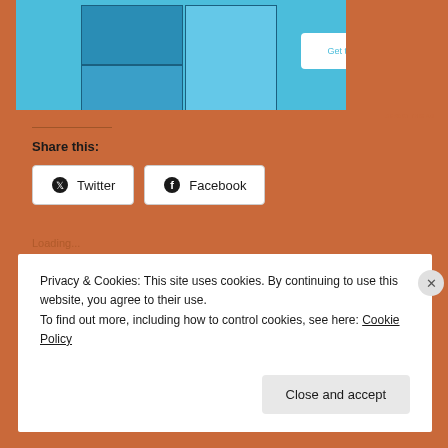[Figure (screenshot): App advertisement banner showing a mobile app screenshot with blue background and a 'Get the app' button]
REPORT THIS AD
Share this:
Twitter
Facebook
Loading...
Privacy & Cookies: This site uses cookies. By continuing to use this website, you agree to their use.
To find out more, including how to control cookies, see here: Cookie Policy
Close and accept